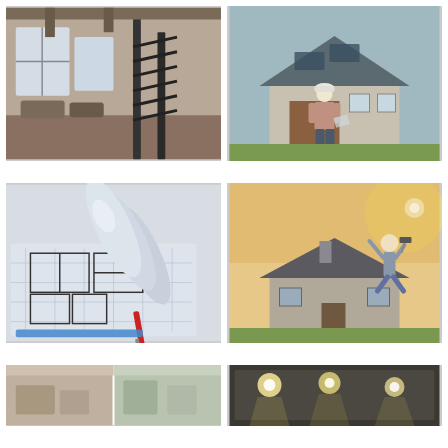[Figure (photo): Interior loft space with industrial metal staircase, large windows, and seating area in background]
[Figure (photo): Construction worker in white hard hat standing in front of a newly built house, holding blueprints, viewed from behind]
[Figure (photo): Rolled architectural blueprints and floor plan drawings spread on a table with a red pen]
[Figure (photo): Person jumping jubilantly in front of a house with a dark roof, backlit by sun]
[Figure (photo): Interior room with warm lighting, partially visible]
[Figure (photo): Interior ceiling with recessed lighting]